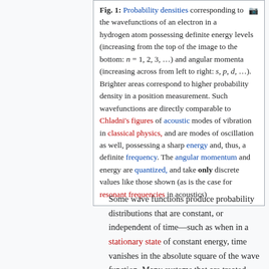Fig. 1: Probability densities corresponding to the wavefunctions of an electron in a hydrogen atom possessing definite energy levels (increasing from the top of the image to the bottom: n = 1, 2, 3, ...) and angular momenta (increasing across from left to right: s, p, d, ...). Brighter areas correspond to higher probability density in a position measurement. Such wavefunctions are directly comparable to Chladni's figures of acoustic modes of vibration in classical physics, and are modes of oscillation as well, possessing a sharp energy and, thus, a definite frequency. The angular momentum and energy are quantized, and take only discrete values like those shown (as is the case for resonant frequencies in acoustics)
Some wave functions produce probability distributions that are constant, or independent of time—such as when in a stationary state of constant energy, time vanishes in the absolute square of the wave function. Many systems that are treated dynamically in classical